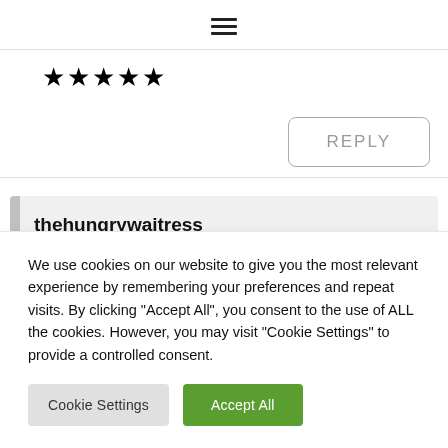[Figure (other): Hamburger menu icon (three horizontal lines) centered at top of page]
★★★★★
REPLY
thehungrywaitress
We use cookies on our website to give you the most relevant experience by remembering your preferences and repeat visits. By clicking "Accept All", you consent to the use of ALL the cookies. However, you may visit "Cookie Settings" to provide a controlled consent.
Cookie Settings
Accept All